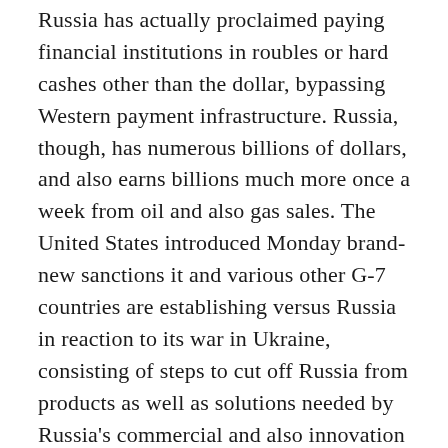Russia has actually proclaimed paying financial institutions in roubles or hard cashes other than the dollar, bypassing Western payment infrastructure. Russia, though, has numerous billions of dollars, and also earns billions much more once a week from oil and also gas sales. The United States introduced Monday brand-new sanctions it and various other G-7 countries are establishing versus Russia in reaction to its war in Ukraine, consisting of steps to cut off Russia from products as well as solutions needed by Russia's commercial and also innovation sectors. " There is cash and there is likewise the preparedness to pay," Russian Financing Priest Anton Siluanov claimed last month.